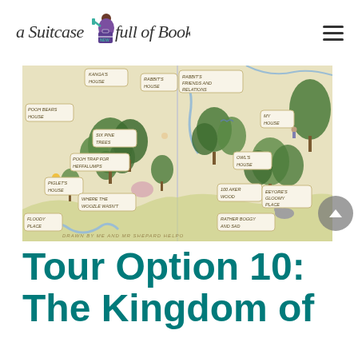A Suitcase Full of Books
[Figure (map): Hand-drawn illustrated map of the Hundred Acre Wood from Winnie-the-Pooh, showing locations including Pooh Bear's House, Kanga's House, Rabbit's House, Rabbit's Friends and Relations, My House, Owl's House, Six Pine Trees, Pooh Trap for Heffalumps, Piglet's House, Where the Woozle Wasn't, Floody Place, 100 Aker Wood, Eeyore's Gloomy Place, Rather Boggy and Sad. Text at bottom reads: DRAWN BY ME AND MR SHEPARD HELPO]
Tour Option 10: The Kingdom of